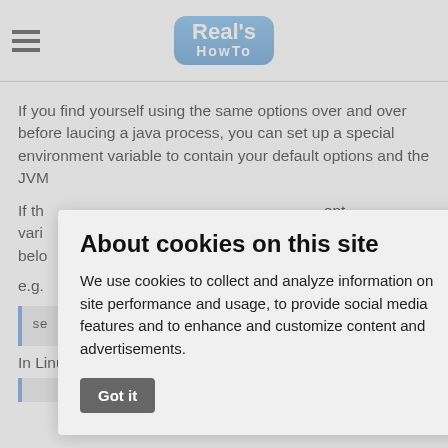Real's HowTo
If you find yourself using the same options over and over before laucing a java process, you can set up a special environment variable to contain your default options and the JVM...
If th... ent vari... NS belo...
e.g.
[Figure (screenshot): Cookie consent modal overlay with title 'About cookies on this site', body text about cookie usage, and a 'Got it' button.]
se ... AFon
In Linux: